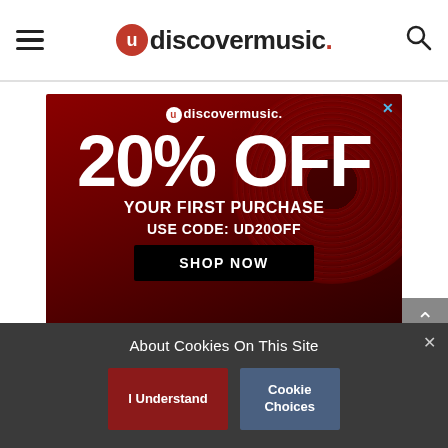udiscovermusic.
[Figure (infographic): Advertisement banner for udiscovermusic offering 20% OFF your first purchase using code UD20OFF with a SHOP NOW button, on a dark red vinyl record background]
About Cookies On This Site
I Understand
Cookie Choices